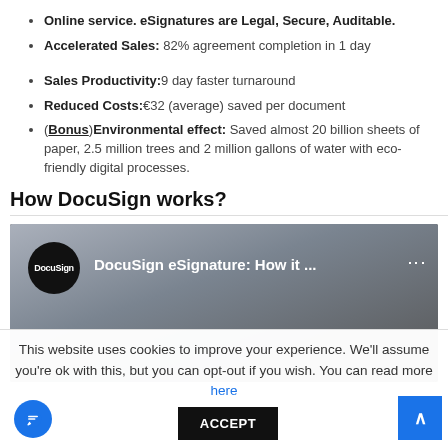Online service. eSignatures are Legal, Secure, Auditable.
Accelerated Sales: 82% agreement completion in 1 day
Sales Productivity:9 day faster turnaround
Reduced Costs:€32 (average) saved per document
(Bonus)Environmental effect: Saved almost 20 billion sheets of paper, 2.5 million trees and 2 million gallons of water with eco-friendly digital processes.
How DocuSign works?
[Figure (screenshot): DocuSign eSignature video thumbnail showing a woman looking down, with DocuSign logo circle on left and title 'DocuSign eSignature: How it ...']
This website uses cookies to improve your experience. We'll assume you're ok with this, but you can opt-out if you wish. You can read more here
ACCEPT